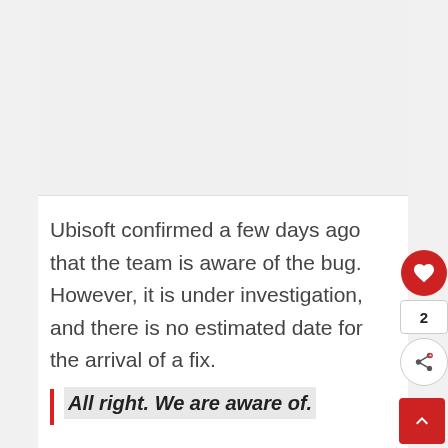[Figure (other): Image placeholder / article image area (blank/white)]
Ubisoft confirmed a few days ago that the team is aware of the bug. However, it is under investigation, and there is no estimated date for the arrival of a fix.
All right. We are aware of.